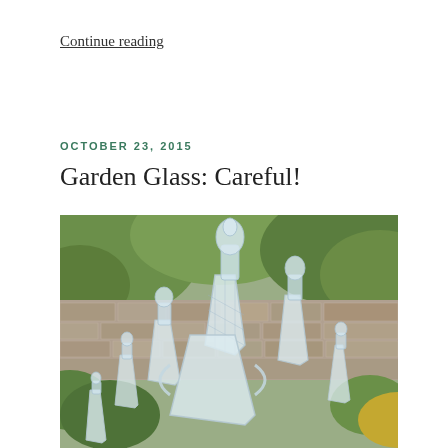Continue reading
OCTOBER 23, 2015
Garden Glass: Careful!
[Figure (photo): Collection of crystal glass decanters with stoppers arranged outdoors in a garden, with a stone wall and green foliage/trees in the background.]